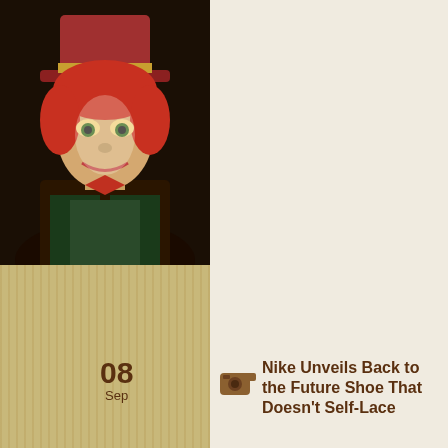[Figure (photo): Avatar/profile image of a character resembling the Mad Hatter (Johnny Depp) in costume with red hair and hat, on left sidebar]
08
Sep
Nike Unveils Back to the Future Shoe That Doesn't Self-Lace
Posted in News and Features,
[youtube]http://www.youtube.com/watch?v=PZ6S... Nike Air Mag sneakers, as featured in Back to th... today and no, they do not self-lace. Instead, the... panel which recharges itself between its 5-hour b... eBay will be auctioning off pairs with contribution...
Tags: Air Mag, Back to the Future, Michael J. Fox,
[Figure (other): Row of social sharing icon buttons: add, delicious, stumbleupon, reddit, twitter, rss]